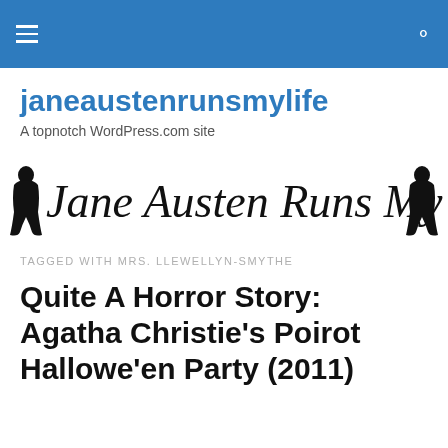janeaustenrunsmylife — hamburger menu and search icon
janeaustenrunsmylife
A topnotch WordPress.com site
[Figure (logo): Jane Austen Runs My Life logo in cursive script with silhouette figures on each side]
TAGGED WITH MRS. LLEWELLYN-SMYTHE
Quite A Horror Story: Agatha Christie's Poirot Hallowe'en Party (2011)